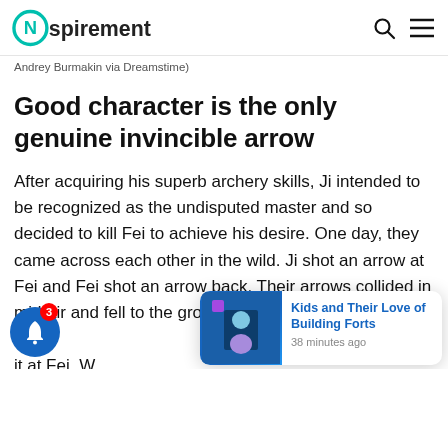Nspirement
Andrey Burmakin via Dreamstime)
Good character is the only genuine invincible arrow
After acquiring his superb archery skills, Ji intended to be recognized as the undisputed master and so decided to kill Fei to achieve his desire. One day, they came across each other in the wild. Ji shot an arrow at Fei and Fei shot an arrow back. Their arrows collided in mid-air and fell to the ground every time. When Fei's arro… it at Fei. W… ed up a stalk of grass from the ground to defend himself, successfully pushing the arrow shaft down
[Figure (screenshot): Popup notification card showing 'Kids and Their Love of Building Forts' article thumbnail with blue background and child figure, posted 38 minutes ago]